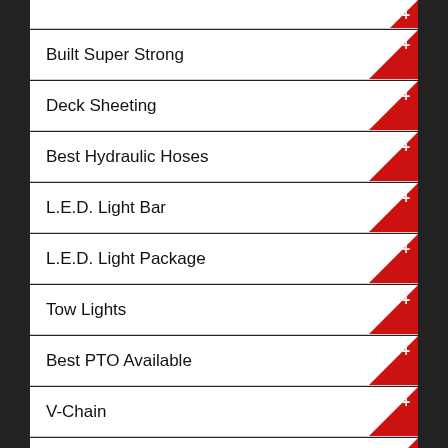Built Super Strong
Deck Sheeting
Best Hydraulic Hoses
L.E.D. Light Bar
L.E.D. Light Package
Tow Lights
Best PTO Available
V-Chain